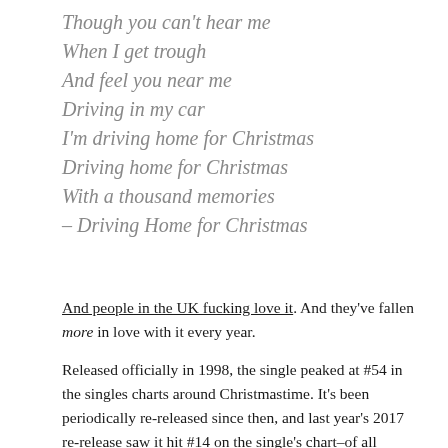Though you can't hear me
When I get trough
And feel you near me
Driving in my car
I'm driving home for Christmas
Driving home for Christmas
With a thousand memories
– Driving Home for Christmas
And people in the UK fucking love it. And they've fallen more in love with it every year.
Released officially in 1998, the single peaked at #54 in the singles charts around Christmastime. It's been periodically re-released since then, and last year's 2017 re-release saw it hit #14 on the single's chart–of all music,